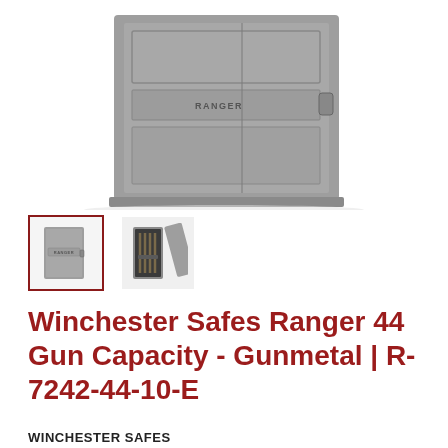[Figure (photo): Winchester Safes Ranger 44 gun safe in gunmetal finish, shown closed at an angle with the RANGER logo on the front door and a handle on the right side.]
[Figure (photo): Thumbnail 1: closed gunmetal gun safe, selected with red border.]
[Figure (photo): Thumbnail 2: open gun safe showing interior with guns stored inside.]
Winchester Safes Ranger 44 Gun Capacity - Gunmetal | R-7242-44-10-E
WINCHESTER SAFES